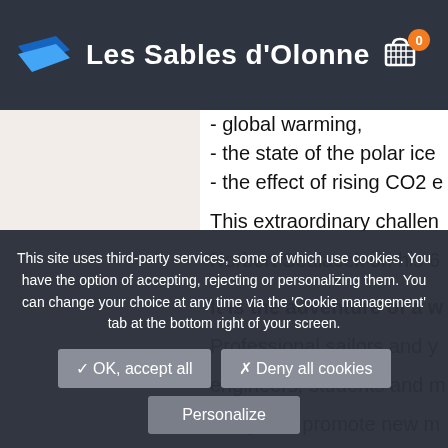Les Sables d'Olonne
- global warming,
- the state of the polar ice
- the effect of rising CO2 e
This extraordinary challen Norbert Sedlacek on his 6
It is the adventure of a w Professional sailors and y engineers, students and r study and promote new m
This site uses third-party services, some of which use cookies. You have the option of accepting, rejecting or personalizing them. You can change your choice at any time via the 'Cookie management' tab at the bottom right of your screen.